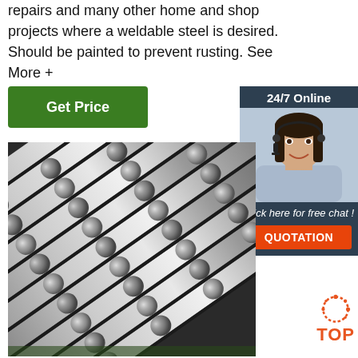repairs and many other home and shop projects where a weldable steel is desired. Should be painted to prevent rusting. See More +
Get Price
24/7 Online
[Figure (photo): Customer service representative woman with headset smiling]
Click here for free chat !
QUOTATION
[Figure (photo): Close-up photo of many steel round bar rods stacked diagonally, showing circular ends and shiny metallic surfaces]